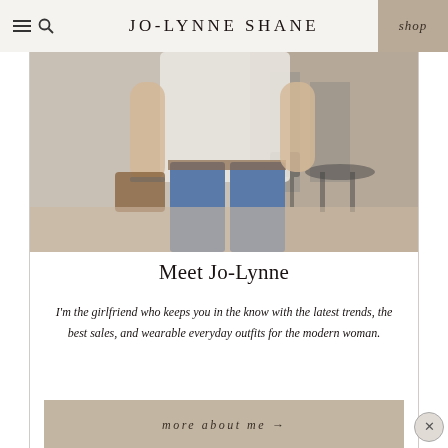JO-LYNNE SHANE
[Figure (photo): Woman wearing white t-shirt and blue jeans, standing outdoors near cafe tables and chairs, holding a brown bag]
Meet Jo-Lynne
I'm the girlfriend who keeps you in the know with the latest trends, the best sales, and wearable everyday outfits for the modern woman.
more about me →